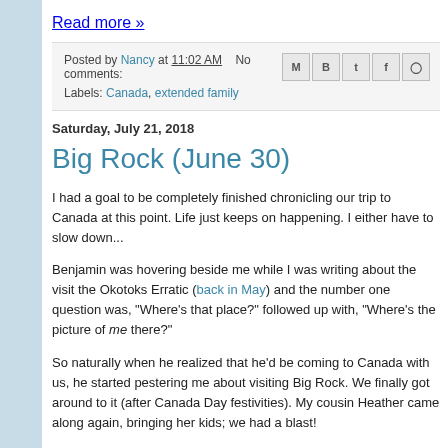Read more »
Posted by Nancy at 11:02 AM   No comments:
Labels: Canada, extended family
Saturday, July 21, 2018
Big Rock (June 30)
I had a goal to be completely finished chronicling our trip to Canada at this point. Life just keeps on happening. I either have to slow down...
Benjamin was hovering beside me while I was writing about the visit the Okotoks Erratic (back in May) and the number one question was, "Where's that place?" followed up with, "Where's the picture of me there?"
So naturally when he realized that he'd be coming to Canada with us, he started pestering me about visiting Big Rock. We finally got around to it (after Canada Day festivities). My cousin Heather came along again, bringing her kids; we had a blast!